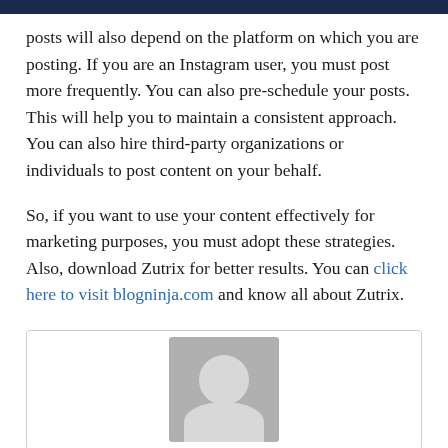posts will also depend on the platform on which you are posting. If you are an Instagram user, you must post more frequently. You can also pre-schedule your posts. This will help you to maintain a consistent approach. You can also hire third-party organizations or individuals to post content on your behalf.
So, if you want to use your content effectively for marketing purposes, you must adopt these strategies. Also, download Zutrix for better results. You can click here to visit blogninja.com and know all about Zutrix.
[Figure (photo): Avatar placeholder image showing a grey silhouette of a person inside a grey rectangle, within a bordered box]